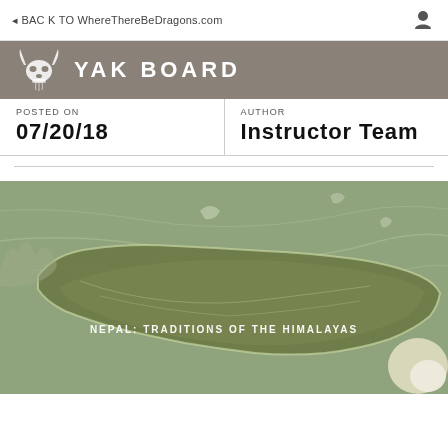BACK TO WhereThereBeDragons.com
YAK BOARD
POSTED ON
07/20/18
AUTHOR
Instructor Team
[Figure (map): Satellite/terrain map showing Nepal highlighted with a brownish-green color, with surrounding regions in lighter green. Text overlay reads: NEPAL: TRADITIONS OF THE HIMALAYAS]